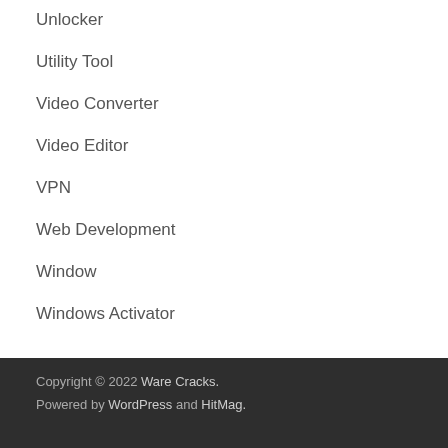Unlocker
Utility Tool
Video Converter
Video Editor
VPN
Web Development
Window
Windows Activator
Copyright © 2022 Ware Cracks.
Powered by WordPress and HitMag.